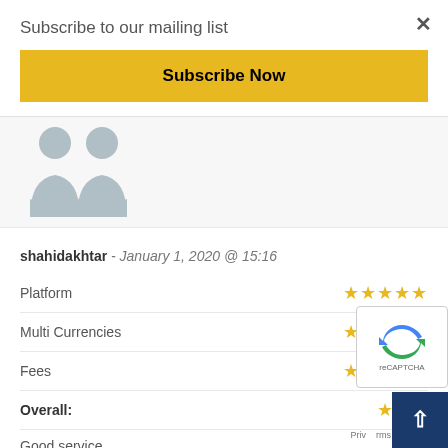Subscribe to our mailing list
Subscribe Now
[Figure (illustration): Two user avatar silhouettes side by side on a light grey background]
shahidakhtar - January 1, 2020 @ 15:16
Platform ★★★★★
Multi Currencies ★★★★★
Fees ★★★★★
Overall: ★★★
Good service